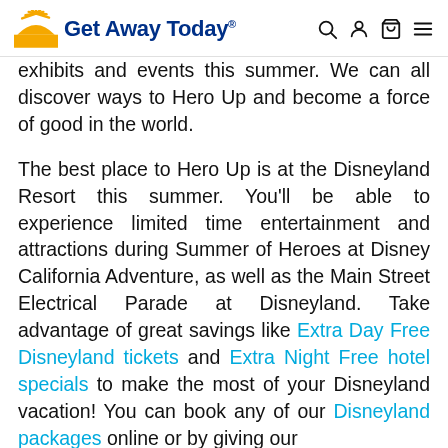Get Away Today
exhibits and events this summer. We can all discover ways to Hero Up and become a force of good in the world.
The best place to Hero Up is at the Disneyland Resort this summer. You'll be able to experience limited time entertainment and attractions during Summer of Heroes at Disney California Adventure, as well as the Main Street Electrical Parade at Disneyland. Take advantage of great savings like Extra Day Free Disneyland tickets and Extra Night Free hotel specials to make the most of your Disneyland vacation! You can book any of our Disneyland packages online or by giving our